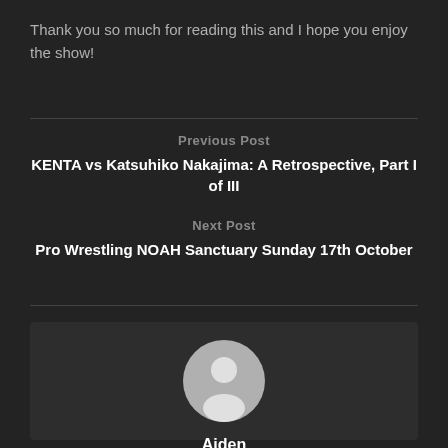Thank you so much for reading this and I hope you enjoy the show!
Previous Post
KENTA vs Katsuhiko Nakajima: A Retrospective, Part I of III
Next Post
Pro Wrestling NOAH Sanctuary Sunday 17th October
[Figure (illustration): Circular avatar placeholder icon with a silhouette of a person on a light grey background]
Aiden